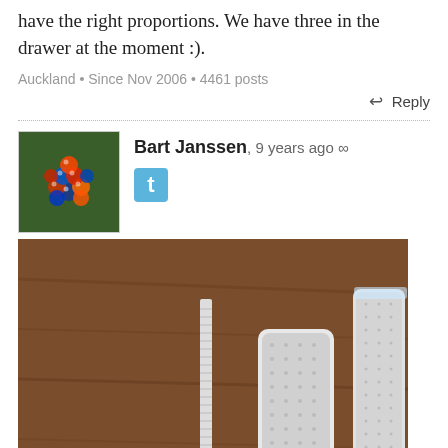have the right proportions. We have three in the drawer at the moment :).
Auckland • Since Nov 2006 • 4461 posts
↩ Reply
Bart Janssen, 9 years ago ∞
[Figure (photo): Avatar image showing colorful molecular or beaded structure on green background]
[Figure (photo): Photo of three microplane graters laid on a wooden surface — one long thin grater with wooden handle, one medium flat grater, and one with a dark handle and clear guard]
These may look simple but there is nothing simple about a tool made by a laser! These microplanes